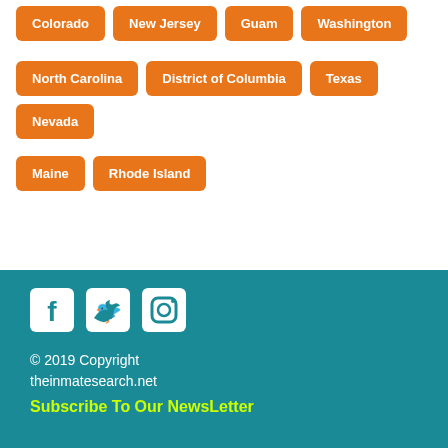Colorado
New Jersey
Guam
Washington
North Carolina
District of Columbia
Texas
Nevada
Maine
Rhode Island
© 2019 Copyright theinmatesearch.net
Subscribe To Our NewsLetter